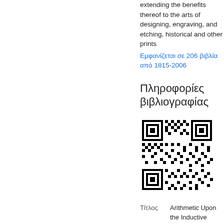extending the benefits thereof to the arts of designing, engraving, and etching, historical and other prints
Εμφανίζεται σε 206 βιβλία από 1815-2006
Πληροφορίες βιβλιογραφίας
[Figure (other): QR code image]
| Τίτλος | Arithmetic Upon the Inductive Method |